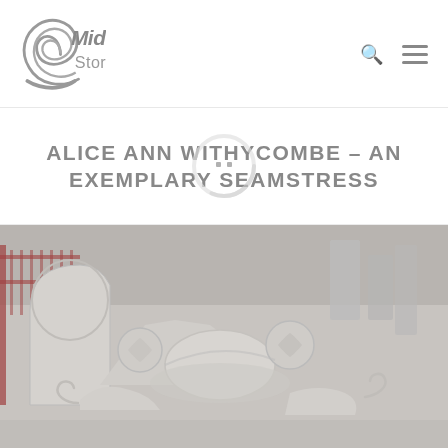MidCoast Stories
ALICE ANN WITHYCOMBE – AN EXEMPLARY SEAMSTRESS
[Figure (photo): Photograph of ornate stone grave monuments in a cemetery, featuring decorative carved stonework with floral motifs, set against iron railings and other headstones in the background.]